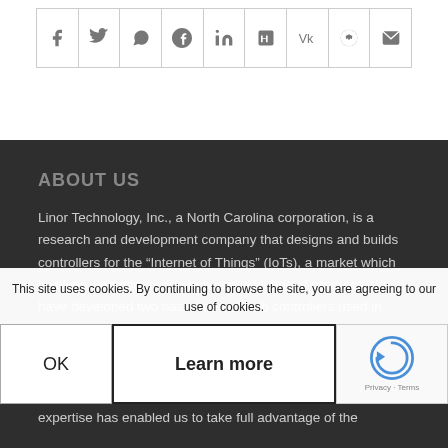[Figure (other): Social media sharing icons: Facebook, Twitter, WhatsApp, Pinterest, LinkedIn, Tumblr, VK, Reddit, Email — displayed in a bordered row]
ABOUT US
Linor Technology, Inc., a North Carolina corporation, is a research and development company that designs and builds controllers for the “Internet of Things” (IoTs), a market which involves web connection between all types of products. We have developed two basic lines of web controllers used in different niche products, Netbell, IOTMeter and Aquaculture Farm Monitor. These controllers can be easily adapted to other solutions and the layermo making is quick and cost effective to entry markets. This technology focus and expertise has enabled us to take full advantage of the
This site uses cookies. By continuing to browse the site, you are agreeing to our use of cookies.